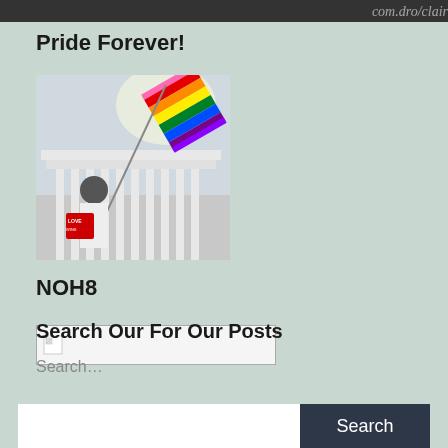[Figure (photo): Partial banner/header image visible at very top of page, dark themed with script text partially visible]
Pride Forever!
[Figure (photo): Person waving a rainbow pride flag in front of a government building (appears to be the US Supreme Court), wearing a white t-shirt and cap]
NOH8
[Figure (photo): Broken/missing image placeholder with small icon, inside a light bordered box]
Search Our For Our Posts
Search…
Search